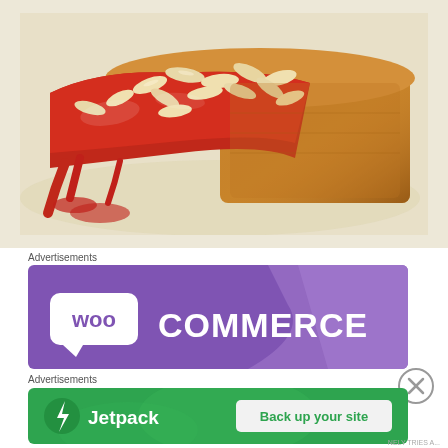[Figure (photo): Close-up photograph of a slice of cake or bread topped with red berry glaze/jam and sliced almonds, served on a white plate. The baked good has a golden-brown crust visible on the right side.]
Advertisements
[Figure (logo): WooCommerce advertisement banner with purple gradient background. White WooCommerce logo (speech bubble with 'woo' text inside) and 'COMMERCE' text in white on the left side, with a lighter purple geometric shape on the right.]
Advertisements
[Figure (logo): Jetpack advertisement banner on green background. Jetpack logo (lightning bolt in circle) on left with 'Jetpack' text, and a white rounded button on the right reading 'Back up your site'.]